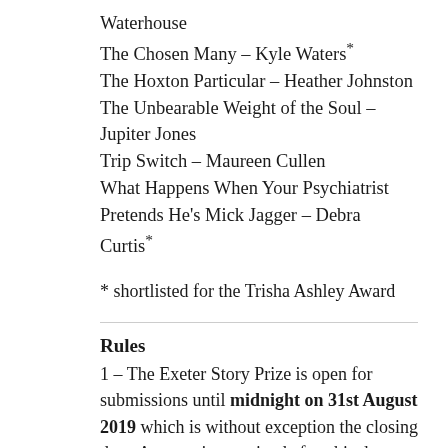Waterhouse
The Chosen Many – Kyle Waters*
The Hoxton Particular – Heather Johnston
The Unbearable Weight of the Soul – Jupiter Jones
Trip Switch – Maureen Cullen
What Happens When Your Psychiatrist Pretends He's Mick Jagger – Debra Curtis*
* shortlisted for the Trisha Ashley Award
Rules
1 – The Exeter Story Prize is open for submissions until midnight on 31st August 2019 which is without exception the closing date. Any entries received after this date will be disqualified and no refunds of the entry fee will be made.